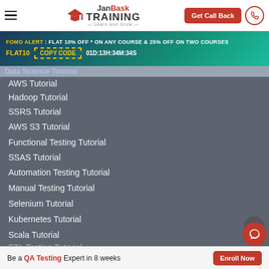JanBask TRAINING Learn and Grow | Get Call Back
FOMO ALERT : FLAT 10% OFF * ON ANY COURSE & 25% OFF ON TWO COURSES | FLAT10 COPY CODE 01D:13H:34M:34S
Data Science Tutorial
AWS Tutorial
Hadoop Tutorial
SSRS Tutorial
AWS S3 Tutorial
Functional Testing Tutorial
SSAS Tutorial
Automation Testing Tutorial
Manual Testing Tutorial
Selenium Tutorial
Kubernetes Tutorial
Scala Tutorial
ETL Testing Tutorial
Be a QA Testing Expert in 8 weeks  Enroll Now